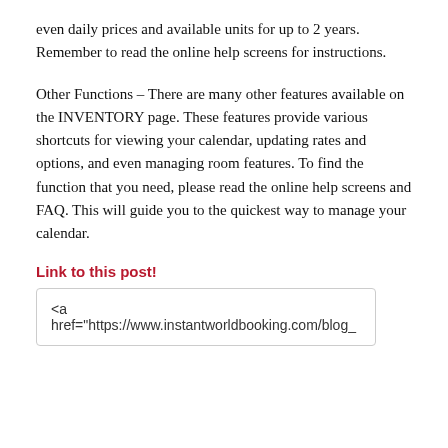even daily prices and available units for up to 2 years. Remember to read the online help screens for instructions.
Other Functions – There are many other features available on the INVENTORY page. These features provide various shortcuts for viewing your calendar, updating rates and options, and even managing room features. To find the function that you need, please read the online help screens and FAQ. This will guide you to the quickest way to manage your calendar.
Link to this post!
<a href="https://www.instantworldbooking.com/blog_